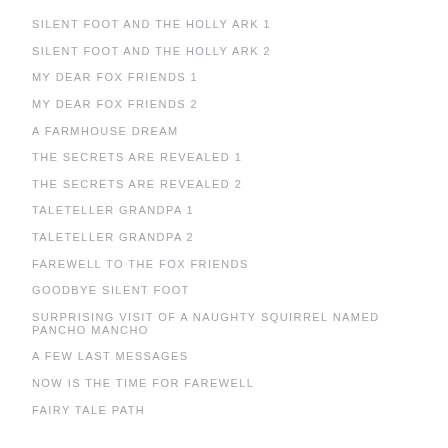SILENT FOOT AND THE HOLLY ARK 1
SILENT FOOT AND THE HOLLY ARK 2
MY DEAR FOX FRIENDS 1
MY DEAR FOX FRIENDS 2
A FARMHOUSE DREAM
THE SECRETS ARE REVEALED 1
THE SECRETS ARE REVEALED 2
TALETELLER GRANDPA 1
TALETELLER GRANDPA 2
FAREWELL TO THE FOX FRIENDS
GOODBYE SILENT FOOT
SURPRISING VISIT OF A NAUGHTY SQUIRREL NAMED PANCHO MANCHO
A FEW LAST MESSAGES
NOW IS THE TIME FOR FAREWELL
FAIRY TALE PATH